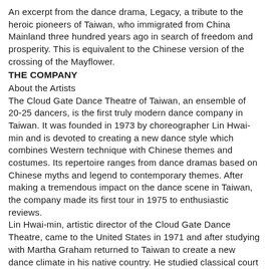An excerpt from the dance drama, Legacy, a tribute to the heroic pioneers of Taiwan, who immigrated from China Mainland three hundred years ago in search of freedom and prosperity. This is equivalent to the Chinese version of the crossing of the Mayflower.
THE COMPANY
About the Artists
The Cloud Gate Dance Theatre of Taiwan, an ensemble of 20-25 dancers, is the first truly modern dance company in Taiwan. It was founded in 1973 by choreographer Lin Hwai-min and is devoted to creating a new dance style which combines Western technique with Chinese themes and costumes. Its repertoire ranges from dance dramas based on Chinese myths and legend to contemporary themes. After making a tremendous impact on the dance scene in Taiwan, the company made its first tour in 1975 to enthusiastic reviews.
Lin Hwai-min, artistic director of the Cloud Gate Dance Theatre, came to the United States in 1971 and after studying with Martha Graham returned to Taiwan to create a new dance climate in his native country. He studied classical court dance in Korea and Japan in 1974 and most recently won the "Best Choreographer of the Year" award in the Republic of China.
Tina Yuan, guest artist, has performed in Ann Arbor several times as a leading dancer with the Alvin Ailey Dance Theatre